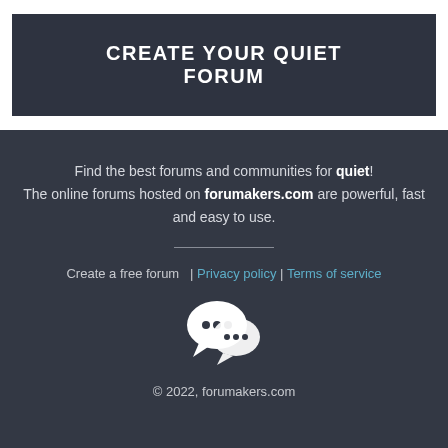CREATE YOUR QUIET FORUM
Find the best forums and communities for quiet! The online forums hosted on forumakers.com are powerful, fast and easy to use.
Create a free forum  | Privacy policy | Terms of service
[Figure (illustration): Two overlapping speech bubble icons in white]
© 2022, forumakers.com